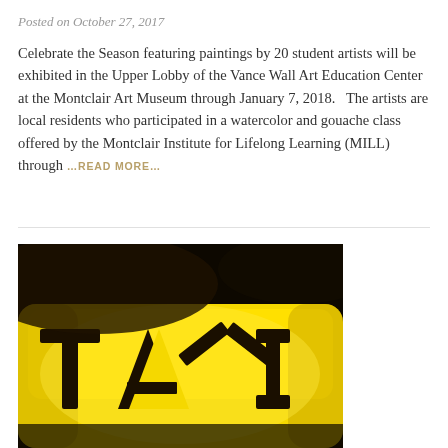Posted on October 27, 2017
Celebrate the Season featuring paintings by 20 student artists will be exhibited in the Upper Lobby of the Vance Wall Art Education Center at the Montclair Art Museum through January 7, 2018.   The artists are local residents who participated in a watercolor and gouache class offered by the Montclair Institute for Lifelong Learning (MILL) through …READ MORE…
[Figure (photo): Close-up photograph of a yellow taxi cab roof sign with bold black letters spelling TAXI against a dark background]